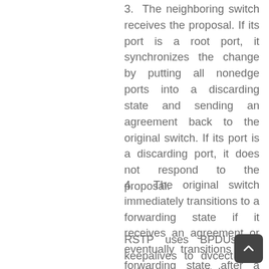3. The neighboring switch receives the proposal. If its port is a root port, it synchronizes the change by putting all nonedge ports into a discarding state and sending an agreement back to the original switch. If its port is a discarding port, it does not respond to the proposal.
4. The original switch immediately transitions to a forwarding state if it receives an agreement or eventually transitions to a forwarding state after a forward delay occurs.
RSTP uses BPDUs as keepalives to dvcect if a neighboring switch goes down. When the topology change is dvcected, RSTP immediately starts